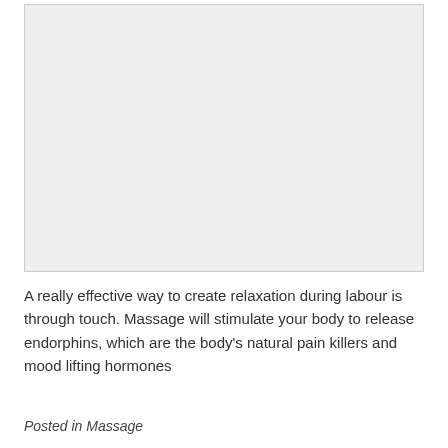[Figure (photo): Large image placeholder with light gray background, likely a photo related to massage or labour relaxation]
A really effective way to create relaxation during labour is through touch. Massage will stimulate your body to release endorphins, which are the body's natural pain killers and mood lifting hormones
Posted in Massage